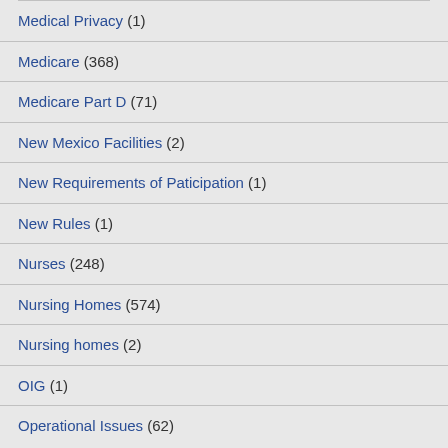Medical Privacy (1)
Medicare (368)
Medicare Part D (71)
New Mexico Facilities (2)
New Requirements of Paticipation (1)
New Rules (1)
Nurses (248)
Nursing Homes (574)
Nursing homes (2)
OIG (1)
Operational Issues (62)